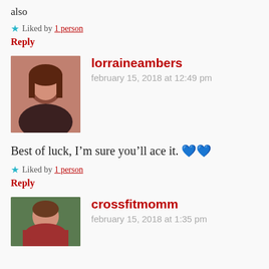also
★ Liked by 1 person
Reply
[Figure (photo): Avatar photo of lorraineambers, a woman with dark hair]
lorraineambers
february 15, 2018 at 12:49 pm
Best of luck, I'm sure you'll ace it. 💙💙
★ Liked by 1 person
Reply
[Figure (photo): Avatar photo of crossfitmomm, a woman outdoors]
crossfitmomm
february 15, 2018 at 1:35 pm